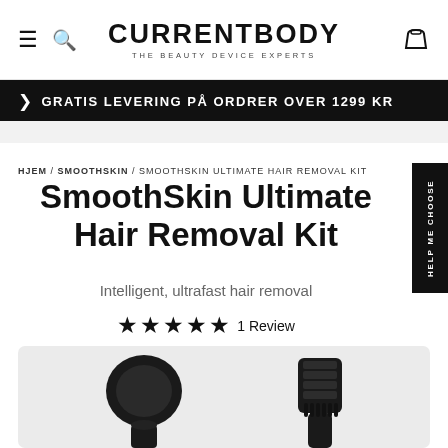CURRENTBODY — THE BEAUTY DEVICE EXPERTS
GRATIS LEVERING PÅ ORDRER OVER 1299 KR
HJEM / SMOOTHSKIN / SMOOTHSKIN ULTIMATE HAIR REMOVAL KIT
SmoothSkin Ultimate Hair Removal Kit
Intelligent, ultrafast hair removal
★★★★★ 1 Review
[Figure (photo): Photo of SmoothSkin Ultimate Hair Removal Kit devices — two black handheld hair removal devices shown on a white/light gray background]